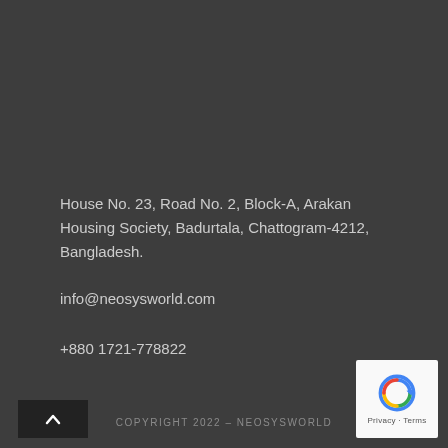House No. 23, Road No. 2, Block-A, Arakan Housing Society, Badurtala, Chattogram-4212, Bangladesh.
info@neosysworld.com
+880 1721-778822
COPYRIGHT 2022 – NEOSYSWORLD
[Figure (other): reCAPTCHA badge with Privacy and Terms links]
[Figure (other): Scroll to top arrow button]